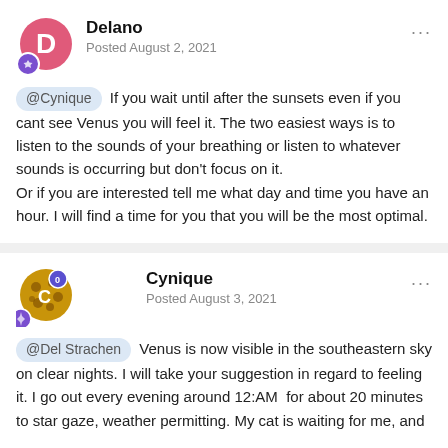Delano
Posted August 2, 2021
@Cynique If you wait until after the sunsets even if you cant see Venus you will feel it. The two easiest ways is to listen to the sounds of your breathing or listen to whatever sounds is occurring but don't focus on it.
Or if you are interested tell me what day and time you have an hour. I will find a time for you that you will be the most optimal.
Cynique
Posted August 3, 2021
@Del Strachen Venus is now visible in the southeastern sky on clear nights. I will take your suggestion in regard to feeling it. I go out every evening around 12:AM  for about 20 minutes to star gaze, weather permitting. My cat is waiting for me, and